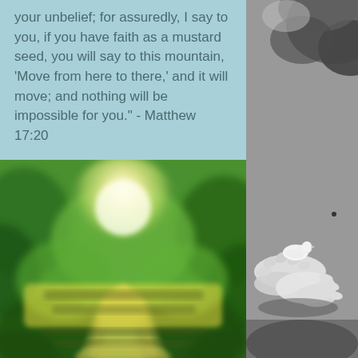your unbelief; for assuredly, I say to you, if you have faith as a mustard seed, you will say to this mountain, 'Move from here to there,' and it will move; and nothing will be impossible for you." - Matthew 17:20
[Figure (illustration): Blurred green nature landscape with sunlight and yellow highlighted text area in center, showing a blurred inspirational quote image]
[Figure (photo): Black and white photograph of hands holding a small white dove or seed, on the right side of the page]